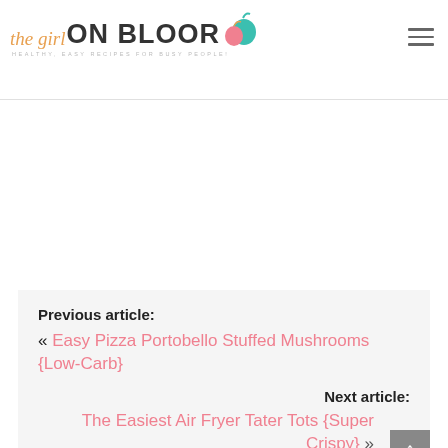[Figure (logo): The Girl on Bloor logo with cursive 'the girl' in orange, bold 'ON BLOOR' in dark gray, pear and apple icons in teal and pink, and tagline 'HEALTHY, EASY RECIPES FOR BUSY PEOPLE!']
Previous article:
« Easy Pizza Portobello Stuffed Mushrooms {Low-Carb}
Next article:
The Easiest Air Fryer Tater Tots {Super Crispy} »